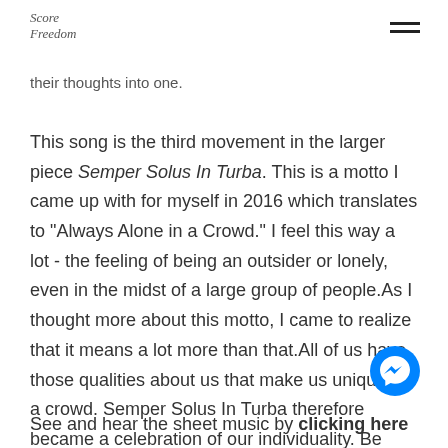Score Freedom (logo) | hamburger menu
their thoughts into one.
This song is the third movement in the larger piece Semper Solus In Turba. This is a motto I came up with for myself in 2016 which translates to "Always Alone in a Crowd." I feel this way a lot - the feeling of being an outsider or lonely, even in the midst of a large group of people.As I thought more about this motto, I came to realize that it means a lot more than that.All of us have those qualities about us that make us unique in a crowd. Semper Solus In Turba therefore became a celebration of our individuality. Be proud of who you are and embrace what makes you...you!
See and hear the sheet music by clicking here